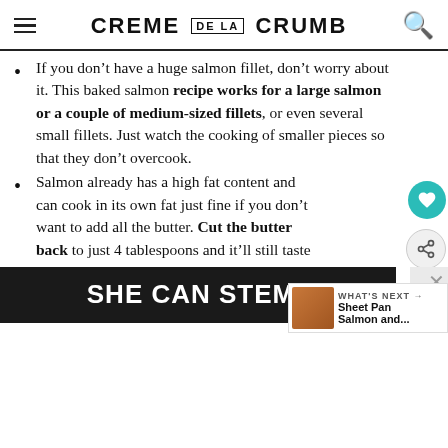CREME DE LA CRUMB
If you don't have a huge salmon fillet, don't worry about it. This baked salmon recipe works for a large salmon or a couple of medium-sized fillets, or even several small fillets. Just watch the cooking of smaller pieces so that they don't overcook.
Salmon already has a high fat content and can cook in its own fat just fine if you don't want to add all the butter. Cut the butter back to just 4 tablespoons and it'll still taste amazing, just not quite as buttery.
[Figure (infographic): SHE CAN STEM advertisement banner in dark background with white bold text]